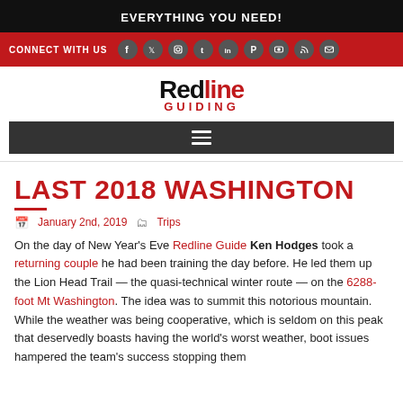EVERYTHING YOU NEED!
CONNECT WITH US
[Figure (logo): Redline Guiding logo with red and black text]
LAST 2018 WASHINGTON
January 2nd, 2019  Trips
On the day of New Year's Eve Redline Guide Ken Hodges took a returning couple he had been training the day before. He led them up the Lion Head Trail — the quasi-technical winter route — on the 6288-foot Mt Washington. The idea was to summit this notorious mountain. While the weather was being cooperative, which is seldom on this peak that deservedly boasts having the world's worst weather, boot issues hampered the team's success stopping them